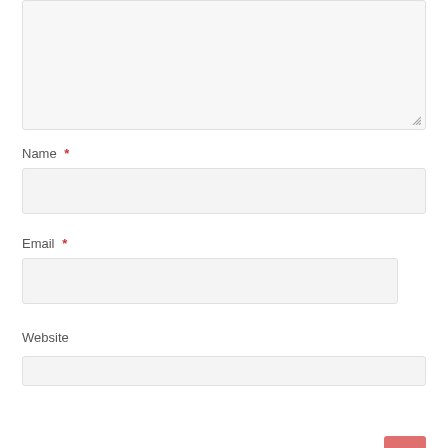[Figure (screenshot): Textarea input box (partially visible, top portion cut off) with a resize handle in the bottom-right corner. Background is light gray with a thin border.]
Name *
[Figure (screenshot): Name input field - empty text input box with light gray background and thin border.]
Email *
[Figure (screenshot): Email input field - empty text input box with light gray background and thin border.]
Website
[Figure (screenshot): Website input field partially visible - empty text input box with light gray background and thin border. Scroll-to-top button (pink/red square with upward chevron arrow) in bottom-right corner.]